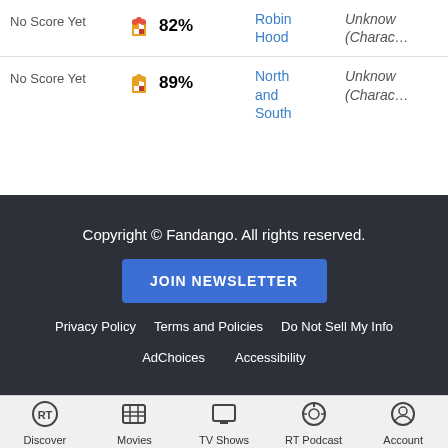| Score | Audience | Title | Character |
| --- | --- | --- | --- |
| No Score Yet | 82% | Robin Hood | Unknown (Charac…) |
| No Score Yet | 89% | North and South | Unknown (Charac…) |
Copyright © Fandango. All rights reserved.
JOIN NEWSLETTER
Privacy Policy  Terms and Policies  Do Not Sell My Info
AdChoices  Accessibility
Discover  Movies  TV Shows  RT Podcast  Account